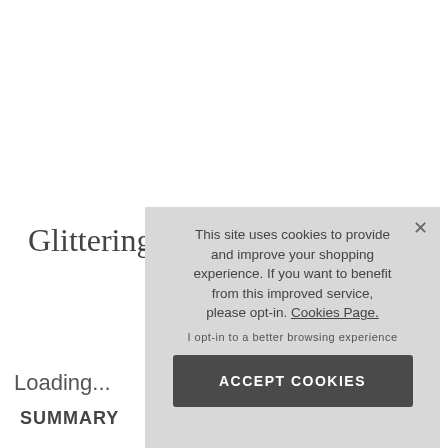Glittering N
Loading...
SUMMARY
[Figure (screenshot): Cookie consent overlay popup with text: 'This site uses cookies to provide and improve your shopping experience. If you want to benefit from this improved service, please opt-in. Cookies Page.' with opt-in link and ACCEPT COOKIES button. A close X button is in the top-right corner.]